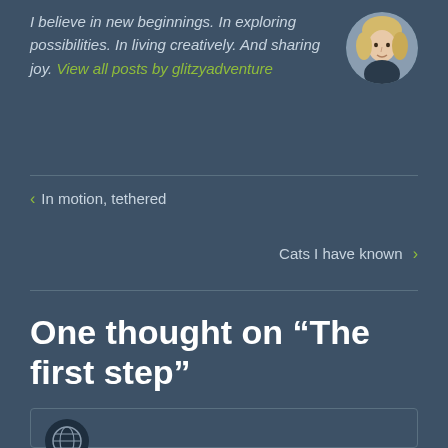I believe in new beginnings. In exploring possibilities. In living creatively. And sharing joy. View all posts by glitzyadventure
[Figure (photo): Circular avatar photo of a blonde woman]
< In motion, tethered
Cats I have known >
One thought on “The first step”
[Figure (logo): Circular commenter avatar icon at bottom]